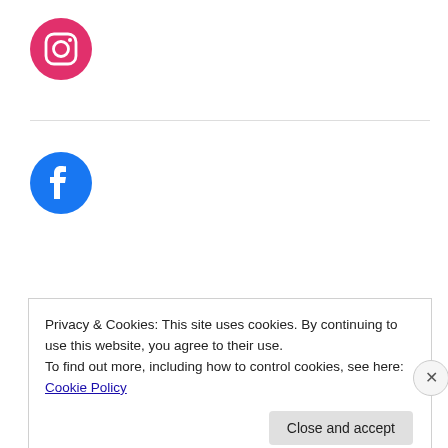[Figure (logo): Instagram icon - pink circle with Instagram camera outline]
[Figure (logo): Facebook icon - blue circle with white F logo]
[Figure (logo): Wunderbar together - Germany and the U.S. logo with colorful script text]
Privacy & Cookies: This site uses cookies. By continuing to use this website, you agree to their use.
To find out more, including how to control cookies, see here: Cookie Policy
Close and accept